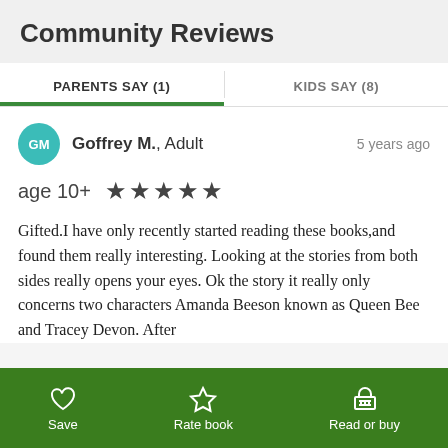Community Reviews
PARENTS SAY (1)
KIDS SAY (8)
Goffrey M., Adult — 5 years ago
age 10+ ★★★★★
Gifted.I have only recently started reading these books,and found them really interesting. Looking at the stories from both sides really opens your eyes. Ok the story it really only concerns two characters Amanda Beeson known as Queen Bee and Tracey Devon. After
Save | Rate book | Read or buy